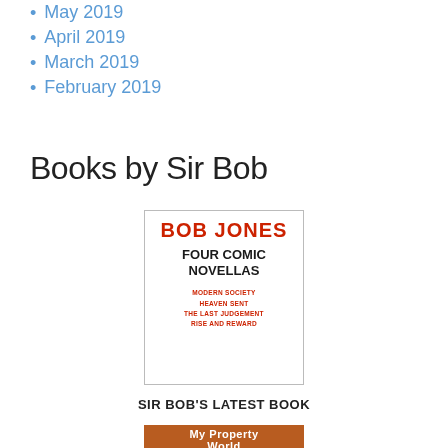May 2019
April 2019
March 2019
February 2019
Books by Sir Bob
[Figure (illustration): Book cover: BOB JONES - FOUR COMIC NOVELLAS. Red bold author name at top, black subtitle, red small text listing: MODERN SOCIETY, HEAVEN SENT, THE LAST JUDGEMENT, RISE AND REWARD]
SIR BOB'S LATEST BOOK
[Figure (illustration): Partial view of another book cover with orange/brown background, partially cut off at bottom of page]